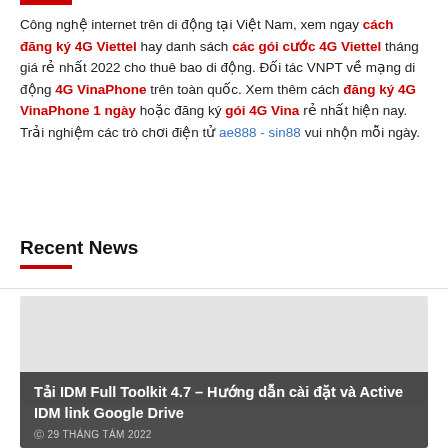Công nghệ internet trên di động tại Việt Nam, xem ngay cách đăng ký 4G Viettel hay danh sách các gói cước 4G Viettel tháng giá rẻ nhất 2022 cho thuê bao di động. Đối tác VNPT về mạng di động 4G VinaPhone trên toàn quốc. Xem thêm cách đăng ký 4G VinaPhone 1 ngày hoặc đăng ký gói 4G Vina rẻ nhất hiện nay.
Trải nghiệm các trò chơi điện tử ae888 - sin88 vui nhộn mỗi ngày.
Recent News
[Figure (photo): Article card with gray placeholder image and dark overlay containing article title and date]
Tải IDM Full Toolkit 4.7 – Hướng dẫn cài đặt và Active IDM link Google Drive
29 THÁNG TÁM 2022